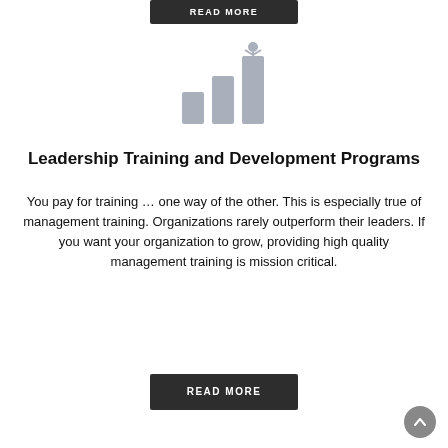READ MORE
[Figure (illustration): A stick figure person standing on top of three ascending bar chart columns, representing growth and leadership. The bars and figure are in a muted grey color.]
Leadership Training and Development Programs
You pay for training … one way of the other. This is especially true of management training. Organizations rarely outperform their leaders. If you want your organization to grow, providing high quality management training is mission critical.
READ MORE